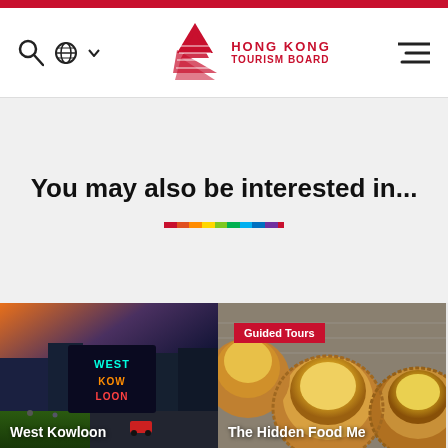[Figure (logo): Hong Kong Tourism Board logo with red junk sail and text HONG KONG TOURISM BOARD in red]
You may also be interested in...
[Figure (photo): West Kowloon cityscape at night with neon signs including West Kowloon sign, people on lawn, dramatic sunset sky]
West Kowloon
[Figure (photo): Close-up of egg tarts (Hong Kong food) on newspaper background with Guided Tours badge overlay]
The Hidden Food Me...